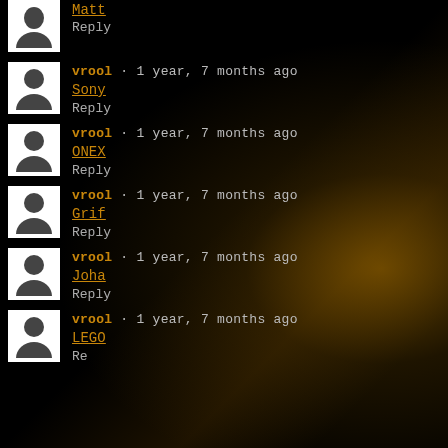Matt (link) Reply
vrool · 1 year, 7 months ago Sony (link) Reply
vrool · 1 year, 7 months ago ONEX (link) Reply
vrool · 1 year, 7 months ago Grif (link) Reply
vrool · 1 year, 7 months ago Joha (link) Reply
vrool · 1 year, 7 months ago LEGO (link) Reply